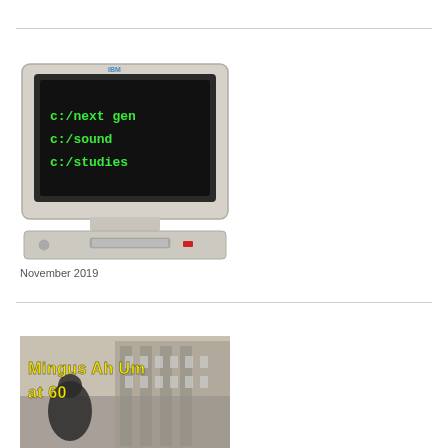[Figure (photo): Old IBM personal computer with green text on black monitor screen showing directories: c:/next gen, c:/sound, c:/studies]
November 2019
[Figure (photo): Mingus Ah Um at 60 - album artwork with yellow text on a black and white background showing a figure and building]